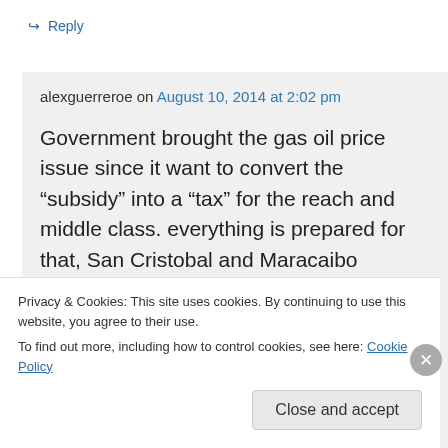↪ Reply
alexguerreroe on August 10, 2014 at 2:02 pm
Government brought the gas oil price issue since it want to convert the “subsidy” into a “tax” for the reach and middle class. everything is prepared for that, San Cristobal and Maracaibo markets were electronically tested for it. Government is in
Privacy & Cookies: This site uses cookies. By continuing to use this website, you agree to their use.
To find out more, including how to control cookies, see here: Cookie Policy